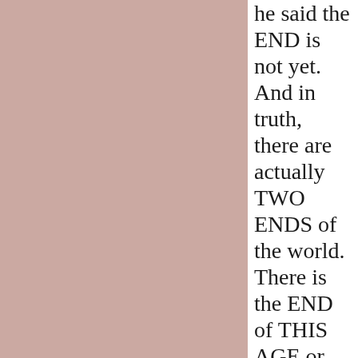he said the END is not yet. And in truth, there are actually TWO ENDS of the world. There is the END of THIS AGE or this PRESENT world and then there